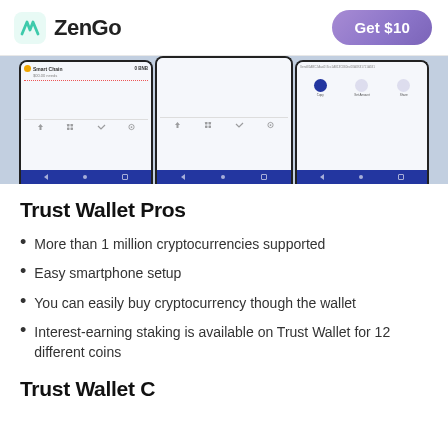ZenGo | Get $10
[Figure (screenshot): Three mobile phone screenshots showing the Trust Wallet app interface with Smart Chain, transaction screens, and QR code options]
Trust Wallet Pros
More than 1 million cryptocurrencies supported
Easy smartphone setup
You can easily buy cryptocurrency though the wallet
Interest-earning staking is available on Trust Wallet for 12 different coins
Trust Wallet C…